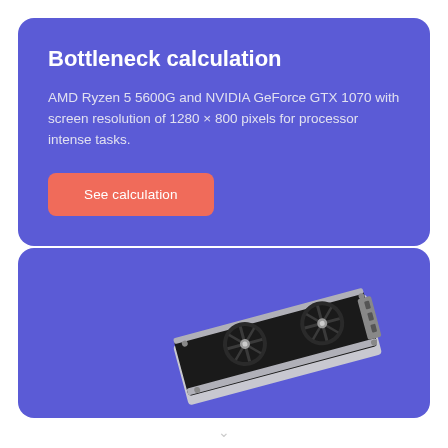Bottleneck calculation
AMD Ryzen 5 5600G and NVIDIA GeForce GTX 1070 with screen resolution of 1280 × 800 pixels for processor intense tasks.
See calculation
[Figure (illustration): A dual-fan GPU (graphics card) illustration shown on a purple/blue background card, depicted at an angle showing the cooler fans and heatsink shroud in silver/black colors.]